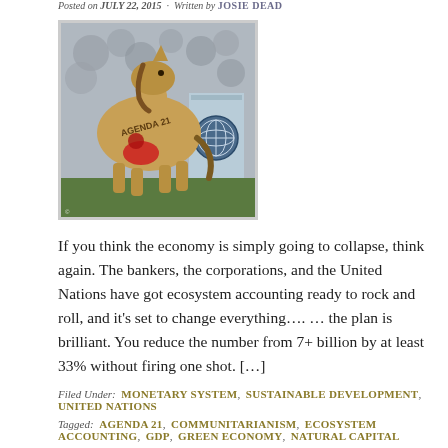Posted on JULY 22, 2015 · Written by JOSIE DEAD
[Figure (photo): A wooden Trojan horse with 'AGENDA 21' written on its side, with a red figure emerging from its belly, posed in front of a United Nations backdrop.]
If you think the economy is simply going to collapse, think again. The bankers, the corporations, and the United Nations have got ecosystem accounting ready to rock and roll, and it's set to change everything…. … the plan is brilliant. You reduce the number from 7+ billion by at least 33% without firing one shot. […]
Filed Under: MONETARY SYSTEM, SUSTAINABLE DEVELOPMENT, UNITED NATIONS
Tagged: AGENDA 21, COMMUNITARIANISM, ECOSYSTEM ACCOUNTING, GDP, GREEN ECONOMY, NATURAL CAPITAL